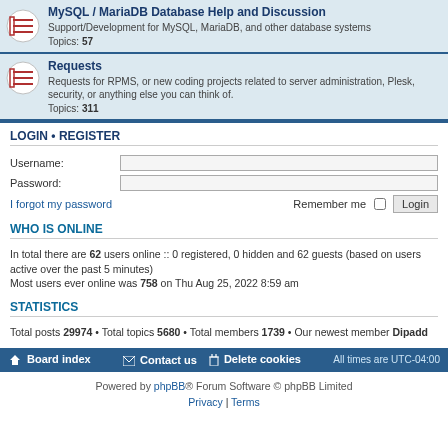MySQL / MariaDB Database Help and Discussion
Support/Development for MySQL, MariaDB, and other database systems
Topics: 57
Requests
Requests for RPMS, or new coding projects related to server administration, Plesk, security, or anything else you can think of.
Topics: 311
LOGIN • REGISTER
Username:
Password:
I forgot my password
Remember me  Login
WHO IS ONLINE
In total there are 62 users online :: 0 registered, 0 hidden and 62 guests (based on users active over the past 5 minutes)
Most users ever online was 758 on Thu Aug 25, 2022 8:59 am
STATISTICS
Total posts 29974 • Total topics 5680 • Total members 1739 • Our newest member Dipadd
Board index  Contact us  Delete cookies  All times are UTC-04:00
Powered by phpBB® Forum Software © phpBB Limited
Privacy | Terms